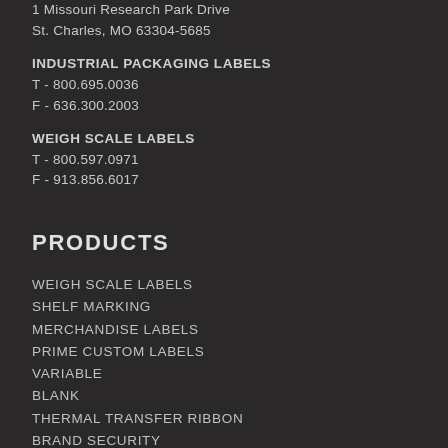1 Missouri Research Park Drive
St. Charles, MO 63304-5685
INDUSTRIAL PACKAGING LABELS
T - 800.695.0036
F - 636.300.2003
WEIGH SCALE LABELS
T - 800.597.0971
F - 913.856.6017
PRODUCTS
WEIGH SCALE LABELS
SHELF MARKING
MERCHANDISE LABELS
PRIME CUSTOM LABELS
VARIABLE
BLANK
THERMAL TRANSFER RIBBON
BRAND SECURITY